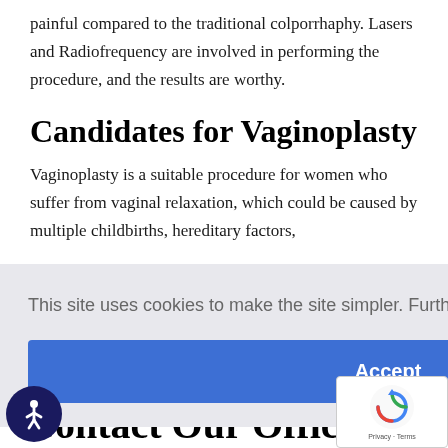painful compared to the traditional colporrhaphy. Lasers and Radiofrequency are involved in performing the procedure, and the results are worthy.
Candidates for Vaginoplasty
Vaginoplasty is a suitable procedure for women who suffer from vaginal relaxation, which could be caused by multiple childbirths, hereditary factors,
e'll nd ask u are a nts ealistic
[Figure (screenshot): Cookie consent banner overlay with text 'This site uses cookies to make the site simpler. Further information is provided in our Privacy Policy' and an Accept button]
[Figure (screenshot): reCAPTCHA badge with Privacy and Terms links]
[Figure (illustration): Accessibility icon - circular blue button with person figure]
Contact Our Office